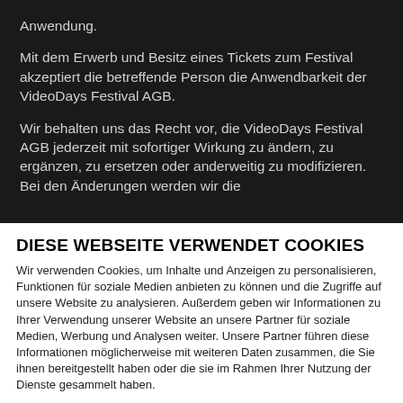Anwendung.
Mit dem Erwerb und Besitz eines Tickets zum Festival akzeptiert die betreffende Person die Anwendbarkeit der VideoDays Festival AGB.
Wir behalten uns das Recht vor, die VideoDays Festival AGB jederzeit mit sofortiger Wirkung zu ändern, zu ergänzen, zu ersetzen oder anderweitig zu modifizieren. Bei den Änderungen werden wir die [text cut off]
DIESE WEBSEITE VERWENDET COOKIES
Wir verwenden Cookies, um Inhalte und Anzeigen zu personalisieren, Funktionen für soziale Medien anbieten zu können und die Zugriffe auf unsere Website zu analysieren. Außerdem geben wir Informationen zu Ihrer Verwendung unserer Website an unsere Partner für soziale Medien, Werbung und Analysen weiter. Unsere Partner führen diese Informationen möglicherweise mit weiteren Daten zusammen, die Sie ihnen bereitgestellt haben oder die sie im Rahmen Ihrer Nutzung der Dienste gesammelt haben.
Ablehnen | Auswahl erlauben | Alle zulassen
Notwendig | Präferenzen | Statistiken | Marketing | Details zeigen